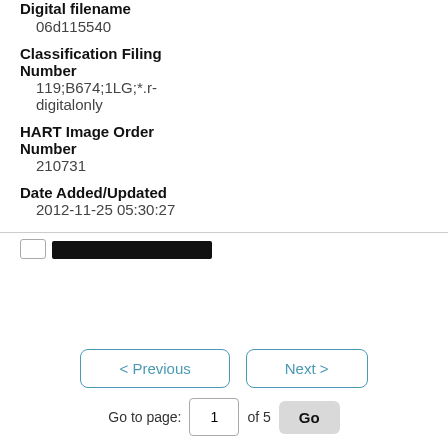Digital filename
06d115540
Classification Filing Number
119;B674;1LG;*.r-digitalonly
HART Image Order Number
210731
Date Added/Updated
2012-11-25 05:30:27
< Previous  Next >  Go to page: 1 of 5  Go